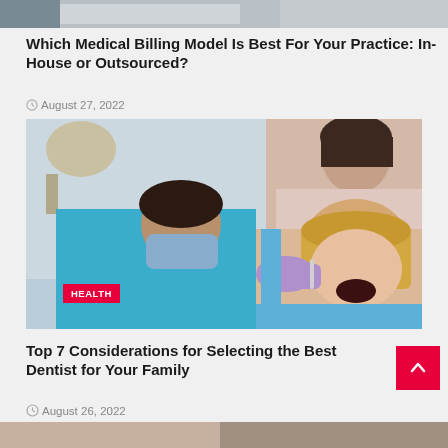[Figure (photo): Cropped top portion of previous article image]
Which Medical Billing Model Is Best For Your Practice: In-House or Outsourced?
August 27, 2022
[Figure (photo): Dental examination scene: a male dentist in teal scrubs and blue mask, a female dental hygienist, and a female patient with open mouth. HEALTH badge in bottom left.]
Top 7 Considerations for Selecting the Best Dentist for Your Family
August 26, 2022
[Figure (photo): Bottom strip of next article image, partially visible]